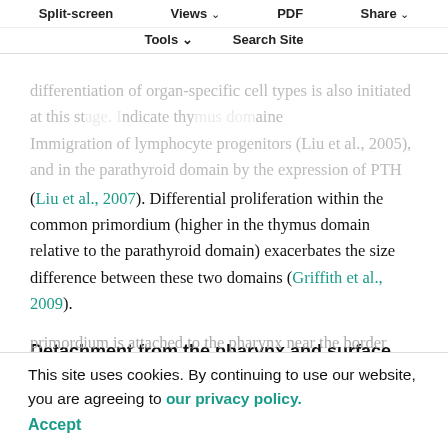Split-screen  Views  PDF  Share  Tools  Search Site
(Liu et al., 2007). Differential proliferation within the common primordium (higher in the thymus domain relative to the parathyroid domain) exacerbates the size difference between these two domains (Griffith et al., 2009).
Detachment from the pharynx and surface ectoderm
Marker studies performed in mice, in which one or both of the organ domains are labeled, indicate that each primordium is attached to the pharynx near the border region between the thymus and parathyroid domains (Fig. Oh in mouse mutants in which pharyngeal detachment is disrupted, the thymus, but not the parathyroid, is the
This site uses cookies. By continuing to use our website, you are agreeing to our privacy policy. Accept